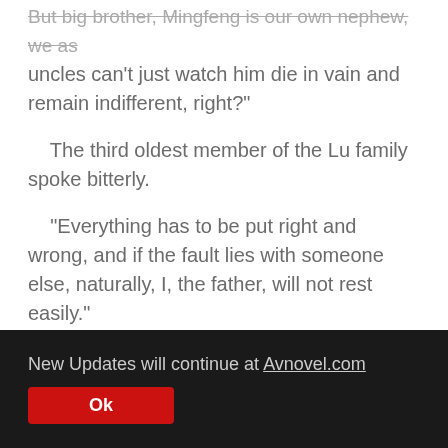But big brother, Mingfeng is our own nephew, we as uncles can't just watch him die in vain and remain indifferent, right?
The third oldest member of the Lu family spoke bitterly.
"Everything has to be put right and wrong, and if the fault lies with someone else, naturally, I, the father, will not rest easily."
"But if, however, the fault lies with Mingfeng, wouldn't you be wronging the good guys by acting like this?"
"So, until this matter is investigated, no one, no one is to make a move!"
New Updates will continue at Avnovel.com